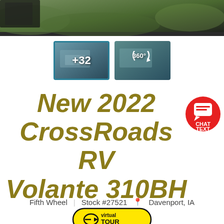[Figure (photo): Top banner photo showing outdoor scene with grass and equipment]
[Figure (photo): Thumbnail image with +32 label showing RV interior, selected with teal border]
[Figure (photo): Thumbnail image with 360° label showing RV interior]
New 2022 CrossRoads RV Volante 310BH
[Figure (illustration): Red circular chat/text button with speech bubble icon, CHAT TEXT label]
Fifth Wheel   Stock #27521   Davenport, IA
[Figure (logo): Virtual Tour yellow oval button with arrow icon]